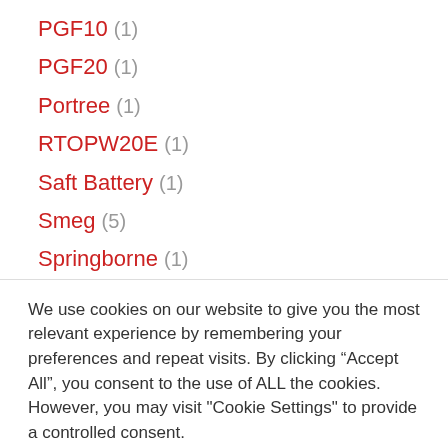PGF10 (1)
PGF20 (1)
Portree (1)
RTOPW20E (1)
Saft Battery (1)
Smeg (5)
Springborne (1)
We use cookies on our website to give you the most relevant experience by remembering your preferences and repeat visits. By clicking “Accept All”, you consent to the use of ALL the cookies. However, you may visit "Cookie Settings" to provide a controlled consent.
Cookie Settings | Accept All